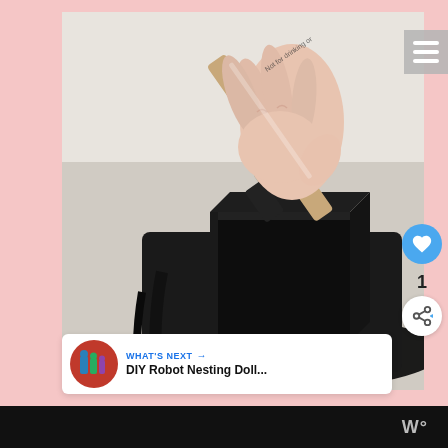[Figure (photo): A hand holding a paint brush applying black chalkboard paint to a wooden block on a white surface. The brush has a wooden handle and the block is heavily coated in black paint.]
WHAT'S NEXT → DIY Robot Nesting Doll...
W°